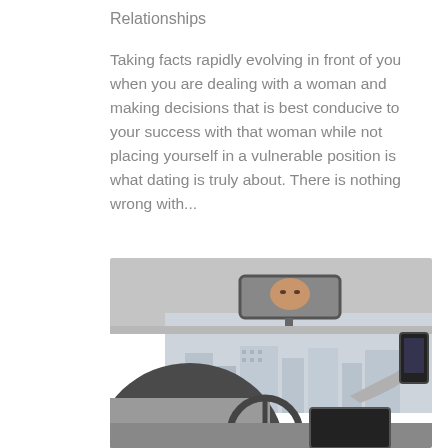Relationships
Taking facts rapidly evolving in front of you when you are dealing with a woman and making decisions that is best conducive to your success with that woman while not placing yourself in a vulnerable position is what dating is truly about. There is nothing wrong with...
[Figure (photo): A man sitting in the driver's seat of a car viewed from behind, looking into the rear-view mirror where his face is reflected. He is holding a phone in his right hand. The background through the windshield shows buildings.]